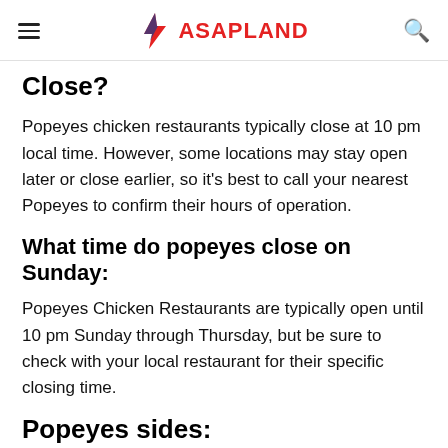ASAPLAND
Close?
Popeyes chicken restaurants typically close at 10 pm local time. However, some locations may stay open later or close earlier, so it’s best to call your nearest Popeyes to confirm their hours of operation.
What time do popeyes close on Sunday:
Popeyes Chicken Restaurants are typically open until 10 pm Sunday through Thursday, but be sure to check with your local restaurant for their specific closing time.
Popeyes sides: